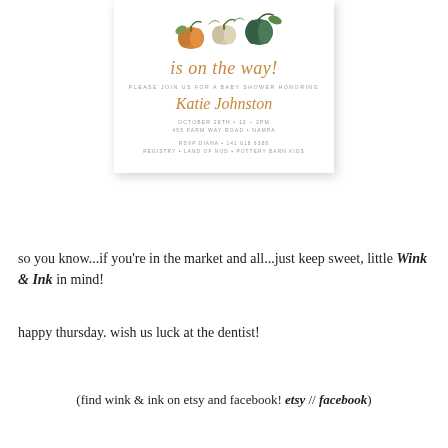[Figure (illustration): Baby shower invitation card with fall pumpkin illustrations at top (orange, beige, green pumpkins with leaves), script text 'is on the way!', details for Katie Johnston baby shower on October 29th, 12-2pm, 455 Farm Way Road, Nampa, RSVP Diana 141 618 6388, Registry Land of Nod and Pottery Barn Kids]
so you know...if you're in the market and all...just keep sweet, little Wink & Ink in mind!
happy thursday. wish us luck at the dentist!
(find wink & ink on etsy and facebook! etsy // facebook)